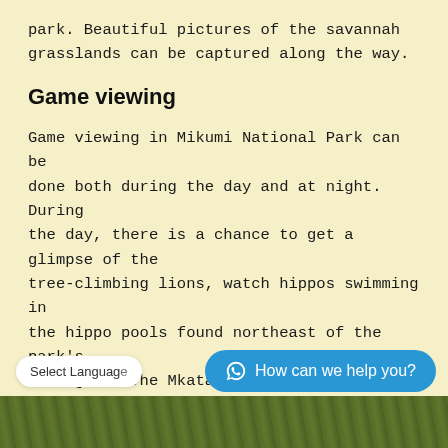park. Beautiful pictures of the savannah grasslands can be captured along the way.
Game viewing
Game viewing in Mikumi National Park can be done both during the day and at night. During the day, there is a chance to get a glimpse of the tree-climbing lions, watch hippos swimming in the hippo pools found northeast of the park's main gate. The Mkata plains attract large herds of buffaloes and elephants that gather to enjoy the fresh water at the Mkata River. Other splendid animals that can be seen include impala, eland, baboons, and the…
Select Language
How can we help you?
[Figure (photo): Bottom strip showing green vegetation/trees at the bottom of the page]